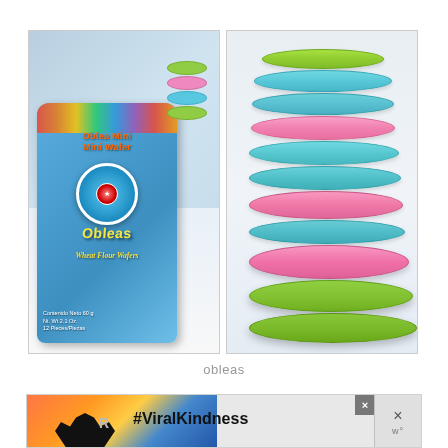[Figure (photo): Two side-by-side photos. Left: a blue bag of 'Oblea Mini / Mini Wafer' wheat flour wafers by Obleas brand, showing colorful stacked round wafer discs on top of the bag, Contenido Neto 60g, Nt. Wt 2.1 Oz., 12 Pieces. Right: a stack of colorful round mini wafer discs in green, teal/blue, and pink colors stacked on a white surface.]
obleas
[Figure (photo): Advertisement banner showing silhouette of hands forming a heart shape against a sunset background, with text '#ViralKindness', a close button (X) in a gray square, and an X button on the right side with 'w°' text below it.]